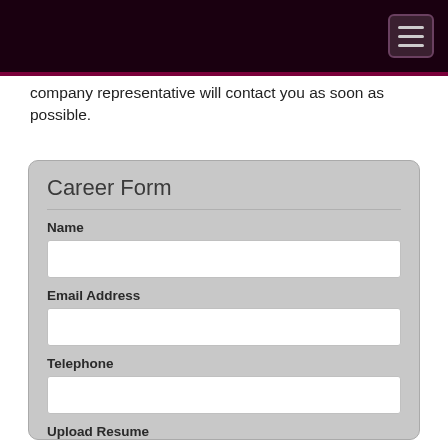company representative will contact you as soon as possible.
Career Form
Name
Email Address
Telephone
Upload Resume
Choose File  No file chosen